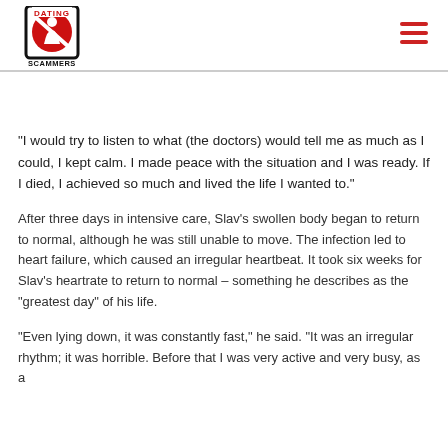[Figure (logo): Dating Scammers logo — circular red no-entry symbol with a person figure inside, black border, text DATING above and SCAMMERS below in bold black font]
“I would try to listen to what (the doctors) would tell me as much as I could, I kept calm. I made peace with the situation and I was ready. If I died, I achieved so much and lived the life I wanted to.”
After three days in intensive care, Slav’s swollen body began to return to normal, although he was still unable to move. The infection led to heart failure, which caused an irregular heartbeat. It took six weeks for Slav’s heartrate to return to normal – something he describes as the “greatest day” of his life.
“Even lying down, it was constantly fast,” he said. “It was an irregular rhythm; it was horrible. Before that I was very active and very busy, as a